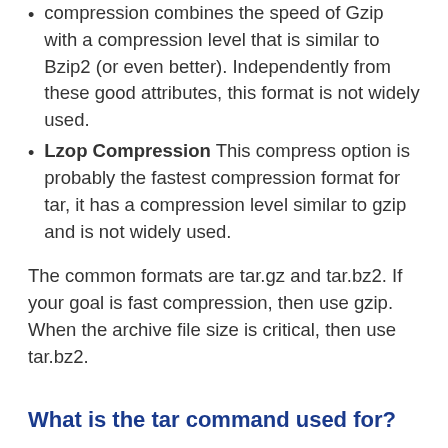compression combines the speed of Gzip with a compression level that is similar to Bzip2 (or even better). Independently from these good attributes, this format is not widely used.
Lzop Compression This compress option is probably the fastest compression format for tar, it has a compression level similar to gzip and is not widely used.
The common formats are tar.gz and tar.bz2. If your goal is fast compression, then use gzip. When the archive file size is critical, then use tar.bz2.
What is the tar command used for?